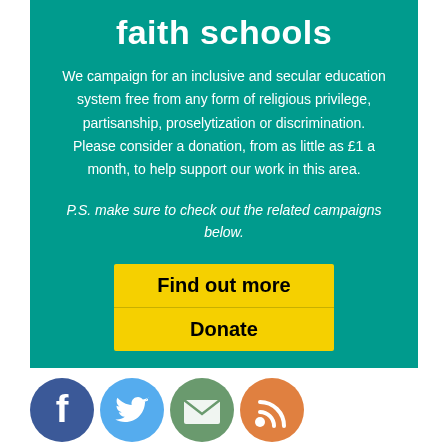faith schools
We campaign for an inclusive and secular education system free from any form of religious privilege, partisanship, proselytization or discrimination. Please consider a donation, from as little as £1 a month, to help support our work in this area.
P.S. make sure to check out the related campaigns below.
Find out more
Donate
[Figure (infographic): Four social media circular icon buttons: Facebook (dark blue), Twitter (light blue), Email/envelope (green-grey), RSS feed (orange)]